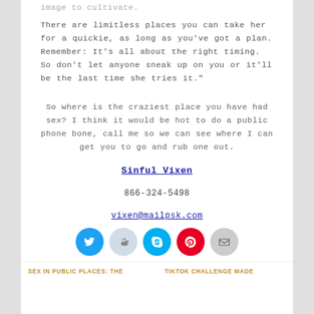image to cultivate.
There are limitless places you can take her for a quickie, as long as you've got a plan. Remember: It's all about the right timing. So don't let anyone sneak up on you or it'll be the last time she tries it."
So where is the craziest place you have had sex? I think it would be hot to do a public phone bone, call me so we can see where I can get you to go and rub one out.
Sinful Vixen
866-324-5498
vixen@mailpsk.com
[Figure (infographic): Row of five social media sharing icons: Twitter (blue circle), Reddit (light blue circle), Skype (cyan circle), Pinterest (red circle), Email (grey circle)]
SEX IN PUBLIC PLACES: THE    TIKTOK CHALLENGE MADE